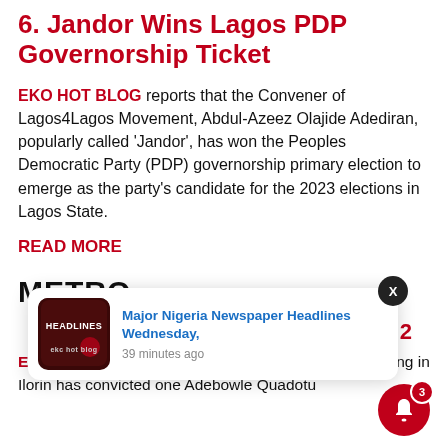6. Jandor Wins Lagos PDP Governorship Ticket
EKO HOT BLOG reports that the Convener of Lagos4Lagos Movement, Abdul-Azeez Olajide Adediran, popularly called ‘Jandor’, has won the Peoples Democratic Party (PDP) governorship primary election to emerge as the party’s candidate for the 2023 elections in Lagos State.
READ MORE
METRO
...dent 2
EKO HOT BLOG reports that a Federal High Court sitting in Ilorin has convicted one Adebowle Quadotun...
[Figure (screenshot): Notification popup showing 'Major Nigeria Newspaper Headlines Wednesday, 39 minutes ago' with a dark red thumbnail labeled HEADLINES and Eko Hot Blog logo]
[Figure (other): Red bell notification icon with badge showing count 3]